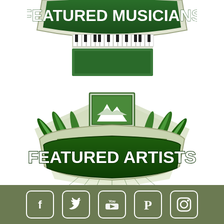[Figure (logo): Featured Musicians logo - partial, showing piano keys and badge at top of page]
[Figure (logo): AboutBoulder.com Featured Artists logo with easel, mountains, feathers, and green badge]
[Figure (logo): Footer bar with social media icons: Facebook, Twitter, YouTube, Pinterest, Instagram]